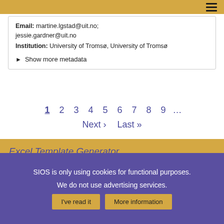Email: martine.lgstad@uit.no; jessie.gardner@uit.no
Institution: University of Tromsø, University of Tromsø
▶ Show more metadata
1 2 3 4 5 6 7 8 9 ...
Next › Last »
Excel Template Generator
Metadata Removal Tool
Create Event Generator Extended...
SIOS is only using cookies for functional purposes.
We do not use advertising services.
I've read it   More information